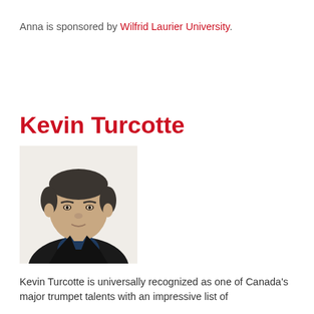Anna is sponsored by Wilfrid Laurier University.
Kevin Turcotte
[Figure (photo): Headshot photo of Kevin Turcotte, a middle-aged man with short dark hair wearing a dark jacket, looking directly at the camera against a white background.]
Kevin Turcotte is universally recognized as one of Canada's major trumpet talents with an impressive list of